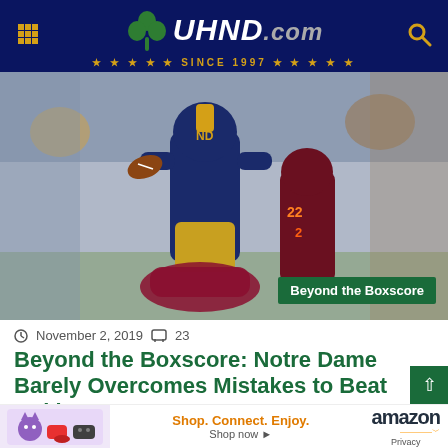UHND.com — Since 1997
[Figure (photo): Notre Dame football player in navy uniform carrying ball, being tackled by Virginia Tech player in maroon uniform. Crowd visible in background. 'Beyond the Boxscore' green label overlay in bottom right.]
November 2, 2019  23
Beyond the Boxscore: Notre Dame Barely Overcomes Mistakes to Beat Hokies
Needing a win to keep their playoff hopes alive, column, the Notre Dame ... per by